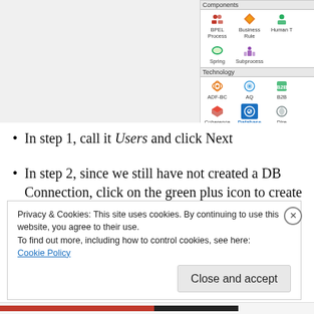[Figure (screenshot): Screenshot of a software component palette showing Components section with BPEL Process, Business Rule, Human Task, Spring, Subprocess icons, and Technology section with ADF-BC, AQ, B2B, Coherence, Database (selected/highlighted in blue), Directory icons and more icon rows below]
In step 1, call it Users and click Next
In step 2, since we still have not created a DB Connection, click on the green plus icon to create one.
Privacy & Cookies: This site uses cookies. By continuing to use this website, you agree to their use.
To find out more, including how to control cookies, see here:
Cookie Policy
Close and accept